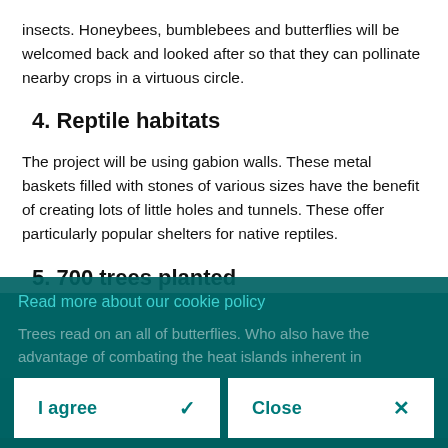insects. Honeybees, bumblebees and butterflies will be welcomed back and looked after so that they can pollinate nearby crops in a virtuous circle.
4. Reptile habitats
The project will be using gabion walls. These metal baskets filled with stones of various sizes have the benefit of creating lots of little holes and tunnels. These offer particularly popular shelters for native reptiles.
5. 700 trees planted
Read more about our cookie policy
Trees read on an all of butterflies. Who also have the advantage of combating the heat islands inherent in
I agree
Close